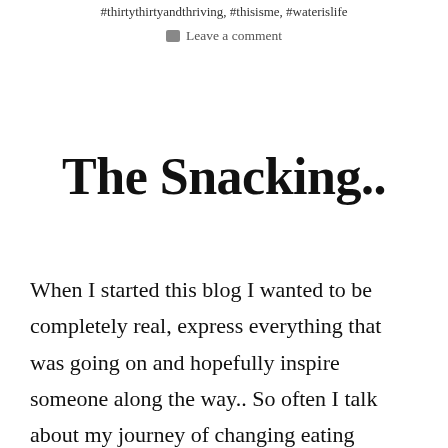#thirtythirtyandthriving, #thisisme, #waterislife
Leave a comment
The Snacking..
When I started this blog I wanted to be completely real, express everything that was going on and hopefully inspire someone along the way.. So often I talk about my journey of changing eating